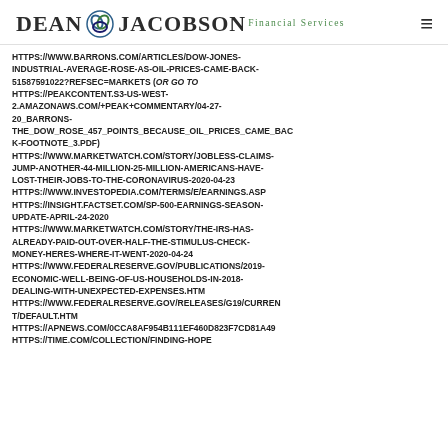Dean Jacobson Financial Services
HTTPS://WWW.BARRONS.COM/ARTICLES/DOW-JONES-INDUSTRIAL-AVERAGE-ROSE-AS-OIL-PRICES-CAME-BACK-51587591022?REFSEC=MARKETS (OR GO TO HTTPS://PEAKCONTENT.S3-US-WEST-2.AMAZONAWS.COM/+PEAK+COMMENTARY/04-27-20_BARRONS-THE_DOW_ROSE_457_POINTS_BECAUSE_OIL_PRICES_CAME_BACK-FOOTNOTE_3.PDF)
HTTPS://WWW.MARKETWATCH.COM/STORY/JOBLESS-CLAIMS-JUMP-ANOTHER-44-MILLION-25-MILLION-AMERICANS-HAVE-LOST-THEIR-JOBS-TO-THE-CORONAVIRUS-2020-04-23
HTTPS://WWW.INVESTOPEDIA.COM/TERMS/E/EARNINGS.ASP
HTTPS://INSIGHT.FACTSET.COM/SP-500-EARNINGS-SEASON-UPDATE-APRIL-24-2020
HTTPS://WWW.MARKETWATCH.COM/STORY/THE-IRS-HAS-ALREADY-PAID-OUT-OVER-HALF-THE-STIMULUS-CHECK-MONEY-HERES-WHERE-IT-WENT-2020-04-24
HTTPS://WWW.FEDERALRESERVE.GOV/PUBLICATIONS/2019-ECONOMIC-WELL-BEING-OF-US-HOUSEHOLDS-IN-2018-DEALING-WITH-UNEXPECTED-EXPENSES.HTM
HTTPS://WWW.FEDERALRESERVE.GOV/RELEASES/G19/CURRENT/DEFAULT.HTM
HTTPS://APNEWS.COM/0CCA8AF954B111EF460D823F7CD81A49
HTTPS://TIME.COM/COLLECTION/FINDING-HOPE